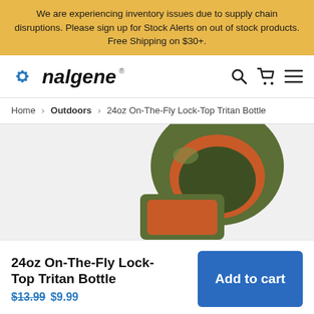We are experiencing inventory issues due to supply chain disruptions. Please sign up for Stock Alerts on out of stock products. Free Shipping on $30+.
[Figure (logo): Nalgene logo with blue snowflake icon and nalgene wordmark]
[Figure (other): Navigation icons: search, cart, and hamburger menu]
Home › Outdoors › 24oz On-The-Fly Lock-Top Tritan Bottle
[Figure (photo): Partial product photo of a 24oz On-The-Fly Lock-Top Tritan Bottle in olive green and orange colors]
24oz On-The-Fly Lock-Top Tritan Bottle
$13.99 $9.99